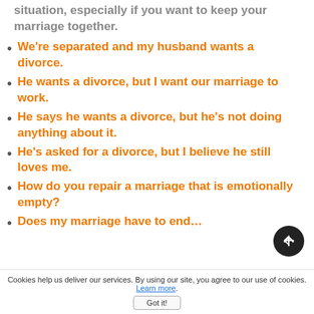situation, especially if you want to keep your marriage together.
We're separated and my husband wants a divorce.
He wants a divorce, but I want our marriage to work.
He says he wants a divorce, but he's not doing anything about it.
He's asked for a divorce, but I believe he still loves me.
How do you repair a marriage that is emotionally empty?
Does my marriage have to end…
Cookies help us deliver our services. By using our site, you agree to our use of cookies. Learn more. Got it!